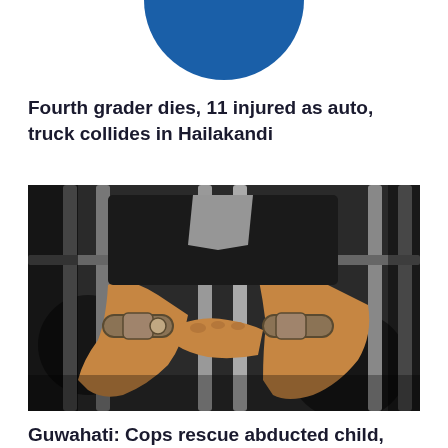[Figure (illustration): Partial blue circle/logo visible at top center of page, cropped at the top edge]
Fourth grader dies, 11 injured as auto, truck collides in Hailakandi
[Figure (photo): Person's hands in handcuffs reaching through jail bars, dark background]
Guwahati: Cops rescue abducted child, one person arrested